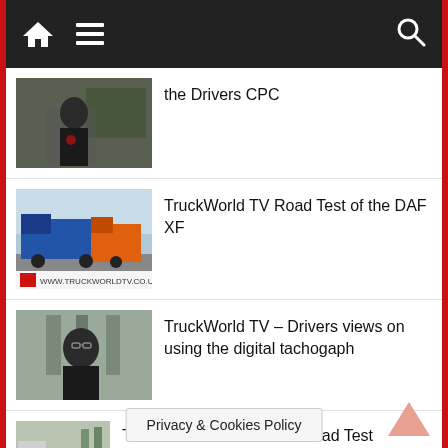Navigation bar with home, menu, and search icons
the Drivers CPC
[Figure (photo): Thumbnail image of a man in a black jacket outdoors near trucks]
TruckWorld TV Road Test of the DAF XF
[Figure (photo): Thumbnail image of a blue and orange truck with TruckWorld TV logo]
TruckWorld TV – Drivers views on using the digital tachogaph
[Figure (photo): Thumbnail image of a man with glasses outdoors]
TruckWorld TV Volvo FH Road Test
[Figure (photo): Thumbnail image of a white Volvo truck with person standing nearby]
Privacy & Cookies Policy